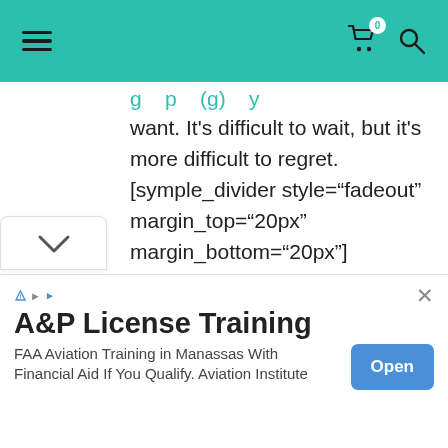Navigation bar with hamburger menu, cart icon (badge: 0), and search icon
…g…p… …(g)… …y want. It's difficult to wait, but it's more difficult to regret. [symple_divider style="fadeout" margin_top="20px" margin_bottom="20px"]
73. Distance doesn't matter if two hearts are loyal to each other. [symple_divider style="fadeout" margin_top="20px"
[Figure (other): Scroll/expand indicator with chevron down arrow]
A&P License Training
FAA Aviation Training in Manassas With Financial Aid If You Qualify. Aviation Institute
Open button (advertisement)